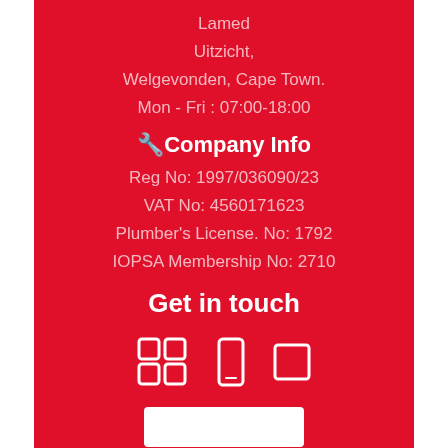Lamed
Uitzicht,
Welgevonden, Cape Town.
Mon - Fri : 07:00-18:00
🔧Company Info
Reg No: 1997/036090/23
VAT No: 4560171623
Plumber's License. No: 1792
IOPSA Membership No: 2710
Get in touch
[Figure (other): Social media / contact icons row]